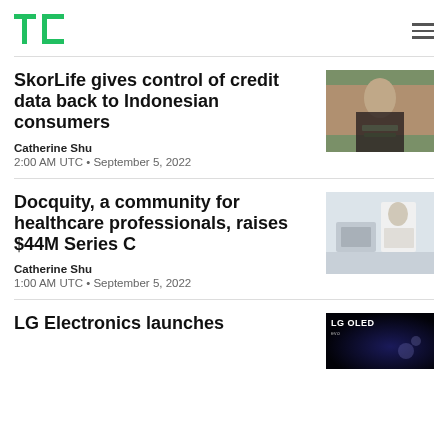TechCrunch
SkorLife gives control of credit data back to Indonesian consumers
Catherine Shu
2:00 AM UTC • September 5, 2022
[Figure (photo): Woman holding a smartphone, street background]
Docquity, a community for healthcare professionals, raises $44M Series C
Catherine Shu
1:00 AM UTC • September 5, 2022
[Figure (photo): Healthcare professional working on laptop in medical setting]
LG Electronics launches
[Figure (photo): LG OLED TV advertisement image with dark space background]